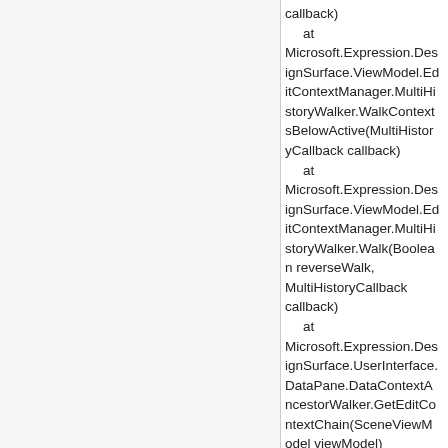callback)
   at Microsoft.Expression.DesignSurface.ViewModel.EditContextManager.MultiHistoryWalker.WalkContextsBelowActive(MultiHistoryCallback callback)
   at Microsoft.Expression.DesignSurface.ViewModel.EditContextManager.MultiHistoryWalker.Walk(Boolean reverseWalk, MultiHistoryCallback callback)
   at Microsoft.Expression.DesignSurface.UserInterface.DataPane.DataContextAncestorWalker.GetEditContextChain(SceneViewModel viewModel)
   at Microsoft.Expression.DesignSurface.UserInterface.DataPane.DataContextAncestorWalker.InitializePath(SceneNode targetNode, IProperty